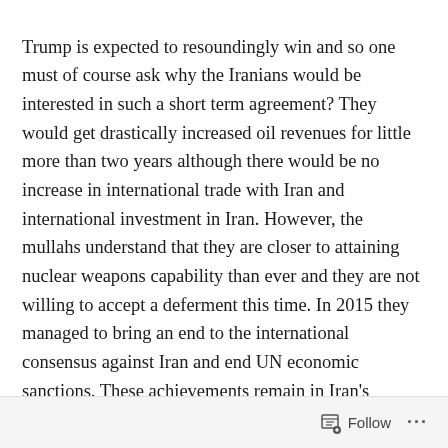Trump is expected to resoundingly win and so one must of course ask why the Iranians would be interested in such a short term agreement? They would get drastically increased oil revenues for little more than two years although there would be no increase in international trade with Iran and international investment in Iran. However, the mullahs understand that they are closer to attaining nuclear weapons capability than ever and they are not willing to accept a deferment this time. In 2015 they managed to bring an end to the international consensus against Iran and end UN economic sanctions. These achievements remain in Iran's pockets without the JCPOA. Iranian leaders believe that they have found economic independence and that the acceleration of the nuclear weapons program must be prioritized in the
Follow ···